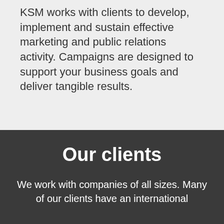KSM works with clients to develop, implement and sustain effective marketing and public relations activity. Campaigns are designed to support your business goals and deliver tangible results.
Our clients
We work with companies of all sizes. Many of our clients have an international